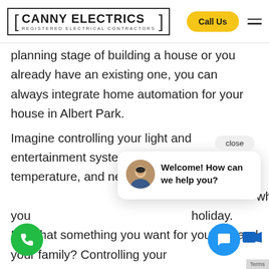CANNY ELECTRICS — REGISTERED ELECTRICAL CONTRACTORS | Call Us
planning stage of building a house or you already have an existing one, you can always integrate home automation for your house in Albert Park.
Imagine controlling your light and entertainment system, setting up the perfect temperature, and never having t[o worry about leaving lights on] whenever you [leave for a] holiday. Isn't that something you want for yourself and your family? Controlling your h[ome with j]ust a voice command or with a touch o[f a] butto[n].
[Figure (screenshot): Chat popup with avatar photo of a man in a suit, text 'Welcome! How can we help you?' and a 'close' button at top right of the popup.]
[Figure (photo): Green circular floating phone call button at bottom left.]
[Figure (photo): Blue circular floating chat button at bottom right with speech bubble icon.]
Terms